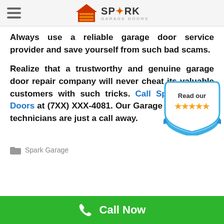Spark Garage Doors
Always use a reliable garage door service provider and save yourself from such bad scams.
Realize that a trustworthy and genuine garage door repair company will never cheat its valuable customers with such tricks. Call Spark Garage Doors at (7XX) XXX-4081. Our Garage Door Repair technicians are just a call away.
[Figure (other): Read our Reviews badge with 5 gold stars and blue ribbon]
Spark Garage
Call Now